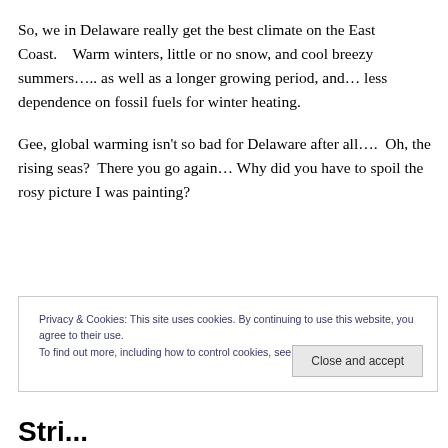So, we in Delaware really get the best climate on the East Coast.    Warm winters, little or no snow, and cool breezy summers….. as well as a longer growing period, and… less dependence on fossil fuels for winter heating.
Gee, global warming isn't so bad for Delaware after all….  Oh, the rising seas?  There you go again… Why did you have to spoil the rosy picture I was painting?
Privacy & Cookies: This site uses cookies. By continuing to use this website, you agree to their use.
To find out more, including how to control cookies, see here: Cookie Policy
Close and accept
Stri...